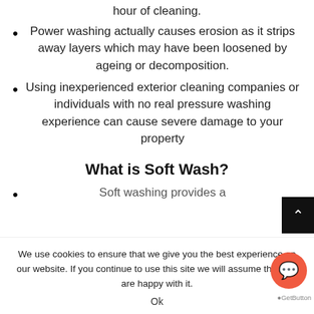hour of cleaning.
Power washing actually causes erosion as it strips away layers which may have been loosened by ageing or decomposition.
Using inexperienced exterior cleaning companies or individuals with no real pressure washing experience can cause severe damage to your property
What is Soft Wash?
Soft washing provides a
We use cookies to ensure that we give you the best experience on our website. If you continue to use this site we will assume that you are happy with it.
Ok